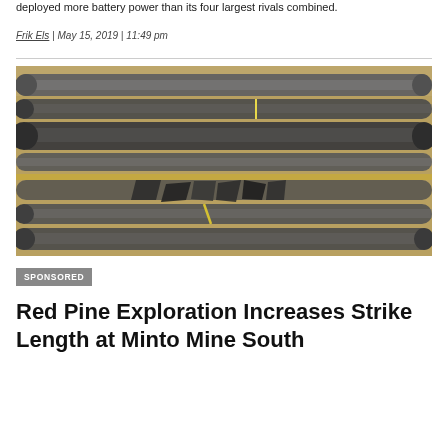deployed more battery power than its four largest rivals combined.
Frik Els | May 15, 2019 | 11:49 pm
[Figure (photo): Rows of dark cylindrical drill core samples in wooden trays, showing dark grey and black rock core specimens used in mineral exploration.]
SPONSORED
Red Pine Exploration Increases Strike Length at Minto Mine South